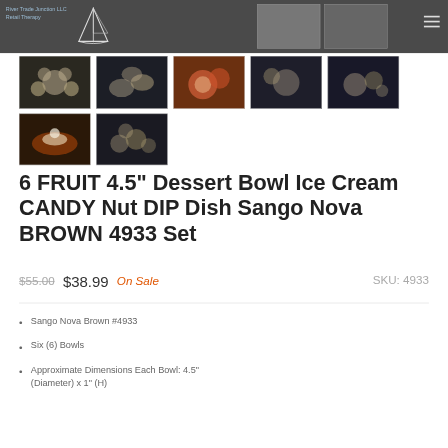River Trade Junction LLC  Retail Therapy
[Figure (photo): Seven product thumbnail images of ceramic bowls arranged in two rows — five in the top row and two in the bottom row]
6 FRUIT 4.5" Dessert Bowl Ice Cream CANDY Nut DIP Dish Sango Nova BROWN 4933 Set
$55.00  $38.99  On Sale  SKU: 4933
Sango Nova Brown #4933
Six (6) Bowls
Approximate Dimensions Each Bowl: 4.5" (Diameter) x 1" (H)